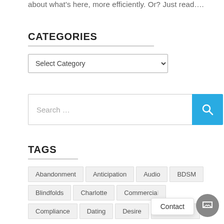about what's here, more efficiently. Or? Just read....
CATEGORIES
Select Category
Search …
TAGS
Abandonment
Anticipation
Audio
BDSM
Blindfolds
Charlotte
Commercial
Compliance
Dating
Desire
Distractions
Contact